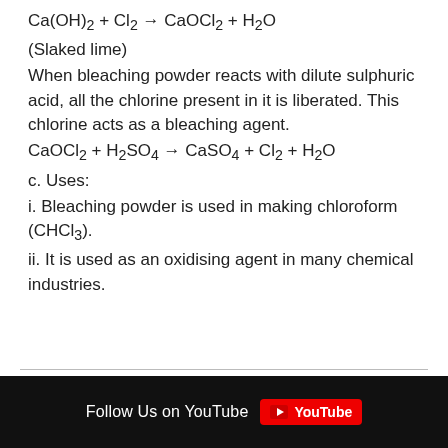(Slaked lime)
When bleaching powder reacts with dilute sulphuric acid, all the chlorine present in it is liberated. This chlorine acts as a bleaching agent.
c. Uses:
i. Bleaching powder is used in making chloroform (CHCl₃).
ii. It is used as an oxidising agent in many chemical industries.
Follow Us on YouTube